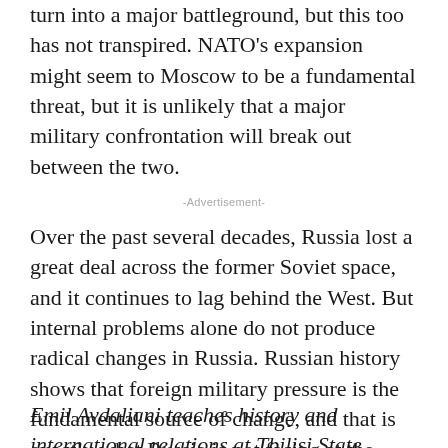turn into a major battleground, but this too has not transpired. NATO's expansion might seem to Moscow to be a fundamental threat, but it is unlikely that a major military confrontation will break out between the two.
-Advertisement-
Over the past several decades, Russia lost a great deal across the former Soviet space, and it continues to lag behind the West. But internal problems alone do not produce radical changes in Russia. Russian history shows that foreign military pressure is the fundamental source of change, and that is exactly what Russia is not facing at the moment.
Emil Avdaliani teaches history and international relations at Tbilisi State University and Ilia State